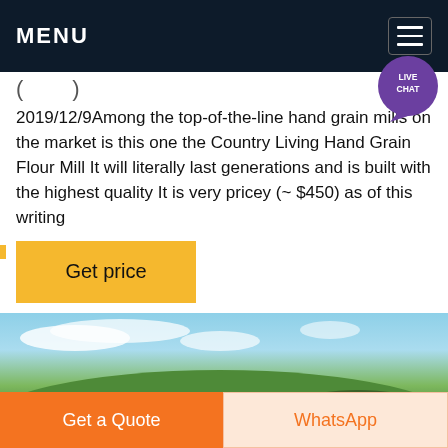MENU
( )
2019/12/9Among the top-of-the-line hand grain mills on the market is this one the Country Living Hand Grain Flour Mill It will literally last generations and is built with the highest quality It is very pricey (~ $450) as of this writing
Get price
[Figure (photo): Outdoor landscape photo showing a green hillside with trees under a partly cloudy blue sky]
Get a Quote
WhatsApp